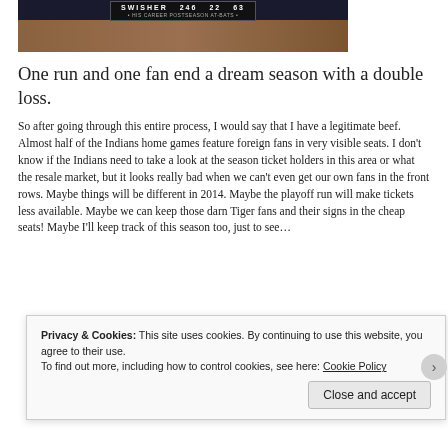[Figure (screenshot): Baseball game scoreboard screenshot showing SWISHER 246 22 63, with career postseason at-bats stat line displayed on a stadium background]
One run and one fan end a dream season with a double loss.
So after going through this entire process, I would say that I have a legitimate beef. Almost half of the Indians home games feature foreign fans in very visible seats. I don't know if the Indians need to take a look at the season ticket holders in this area or what the resale market, but it looks really bad when we can't even get our own fans in the front rows. Maybe things will be different in 2014. Maybe the playoff run will make tickets less available. Maybe we can keep those darn Tiger fans and their signs in the cheap seats! Maybe I'll keep track of this season too, just to see…
Privacy & Cookies: This site uses cookies. By continuing to use this website, you agree to their use.
To find out more, including how to control cookies, see here: Cookie Policy
Close and accept